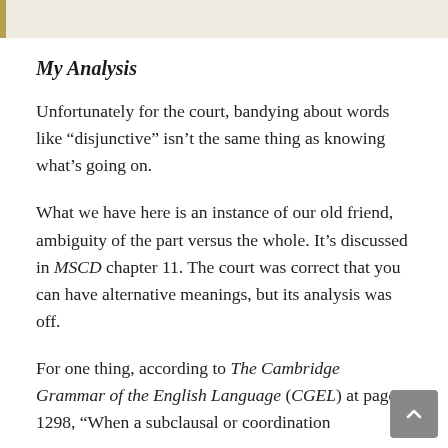My Analysis
Unfortunately for the court, bandying about words like “disjunctive” isn’t the same thing as knowing what’s going on.
What we have here is an instance of our old friend, ambiguity of the part versus the whole. It’s discussed in MSCD chapter 11. The court was correct that you can have alternative meanings, but its analysis was off.
For one thing, according to The Cambridge Grammar of the English Language (CGEL) at page 1298, “When a subclausal or coordination